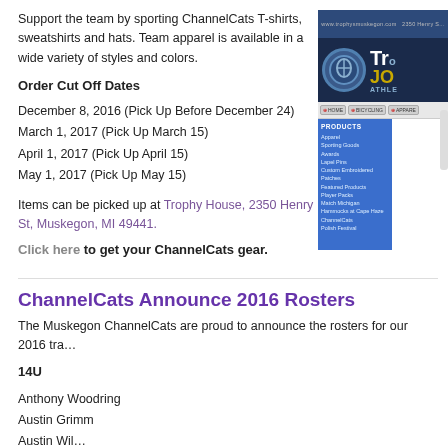Support the team by sporting ChannelCats T-shirts, sweatshirts and hats. Team apparel is available in a wide variety of styles and colors.
Order Cut Off Dates
December 8, 2016 (Pick Up Before December 24)
March 1, 2017 (Pick Up March 15)
April 1, 2017 (Pick Up April 15)
May 1, 2017 (Pick Up May 15)
Items can be picked up at Trophy House, 2350 Henry St, Muskegon, MI 49441.
Click here to get your ChannelCats gear.
[Figure (screenshot): Screenshot of Trophy House website showing logo, navigation, products sidebar with Apparel, Sporting Goods, Awards, Lapel Pins, Custom Embroidered Patches, Featured Products, Player Packs, Match Michigan, Hammocks at Cape Haze, ChannelCats, Polish Festival]
ChannelCats Announce 2016 Rosters
The Muskegon ChannelCats are proud to announce the rosters for our 2016 tra…
14U
Anthony Woodring
Austin Grimm
Austin Wil…